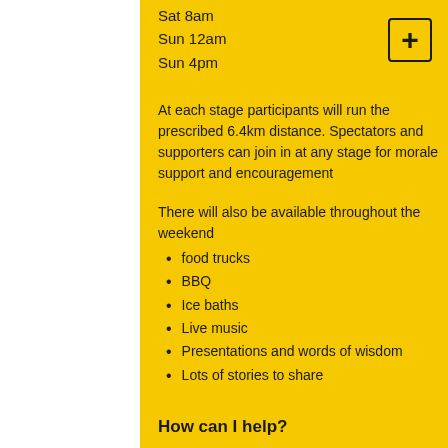Sat 8am
Sun 12am
Sun 4pm
At each stage participants will run the prescribed 6.4km distance. Spectators and supporters can join in at any stage for morale support and encouragement
There will also be available throughout the weekend
food trucks
BBQ
Ice baths
Live music
Presentations and words of wisdom
Lots of stories to share
How can I help?
If you would like to be involved with the